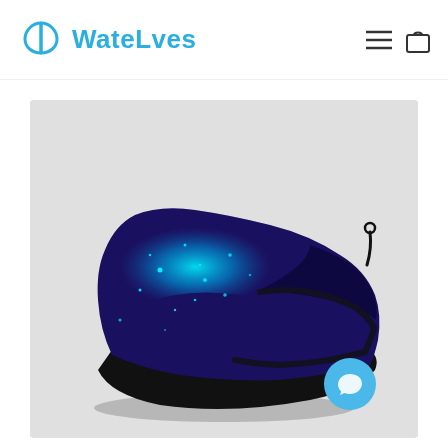WateLves
[Figure (photo): A galaxy/space-themed water shoe (aqua sock) with a dark navy blue base and bright cyan/turquoise speckled galaxy print on the upper portion. The shoe has a slip-on style with a small pull loop at the heel and a black rubber sole. Displayed on a light gray background.]